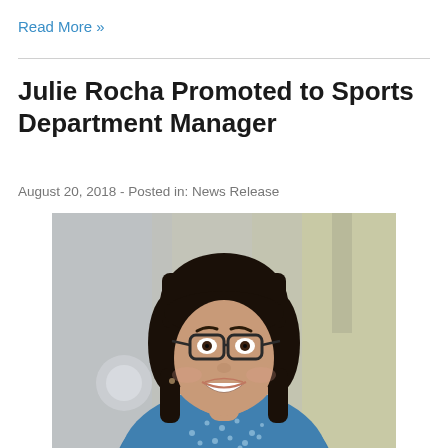Read More »
Julie Rocha Promoted to Sports Department Manager
August 20, 2018 - Posted in: News Release
[Figure (photo): Professional headshot of Julie Rocha, a woman with a dark bob haircut and glasses, wearing a blue patterned top, smiling, with a blurred indoor background.]